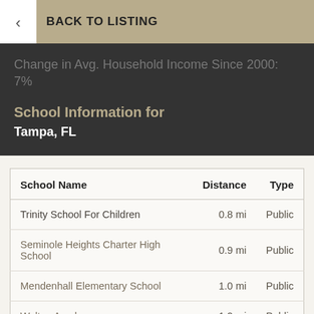< BACK TO LISTING
Change in Avg. Household Income Since 2000: 7%
School Information for Tampa, FL
| School Name | Distance | Type |
| --- | --- | --- |
| Trinity School For Children | 0.8 mi | Public |
| Seminole Heights Charter High School | 0.9 mi | Public |
| Mendenhall Elementary School | 1.0 mi | Public |
| Walton Academy | 1.2 mi | Public |
| Tampa Bay Regional Elementary School | 1.4 mi | Public |